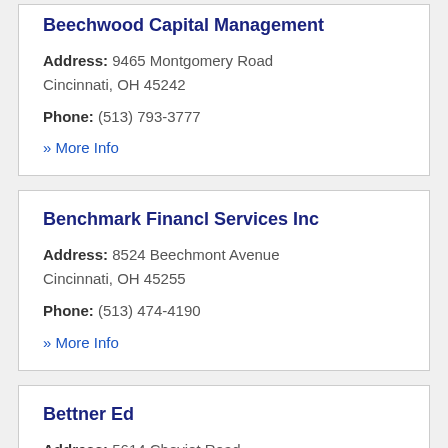Beechwood Capital Management
Address: 9465 Montgomery Road Cincinnati, OH 45242
Phone: (513) 793-3777
» More Info
Benchmark Financl Services Inc
Address: 8524 Beechmont Avenue Cincinnati, OH 45255
Phone: (513) 474-4190
» More Info
Bettner Ed
Address: 5614 Cheviot Road